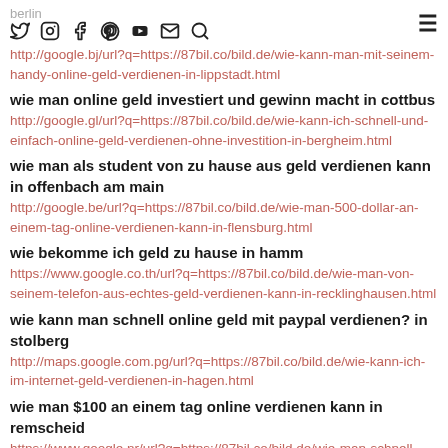berlin
http://google.bj/url?q=https://87bil.co/bild.de/wie-kann-man-mit-seinem-handy-online-geld-verdienen-in-lippstadt.html
wie man online geld investiert und gewinn macht in cottbus
http://google.gl/url?q=https://87bil.co/bild.de/wie-kann-ich-schnell-und-einfach-online-geld-verdienen-ohne-investition-in-bergheim.html
wie man als student von zu hause aus geld verdienen kann in offenbach am main
http://google.be/url?q=https://87bil.co/bild.de/wie-man-500-dollar-an-einem-tag-online-verdienen-kann-in-flensburg.html
wie bekomme ich geld zu hause in hamm
https://www.google.co.th/url?q=https://87bil.co/bild.de/wie-man-von-seinem-telefon-aus-echtes-geld-verdienen-kann-in-recklinghausen.html
wie kann man schnell online geld mit paypal verdienen? in stolberg
http://maps.google.com.pg/url?q=https://87bil.co/bild.de/wie-kann-ich-im-internet-geld-verdienen-in-hagen.html
wie man $100 an einem tag online verdienen kann in remscheid
https://www.google.nr/url?q=https://87bil.co/bild.de/wie-man-schnell-viel-geld-online-verdienen-kann-in-kiel.html